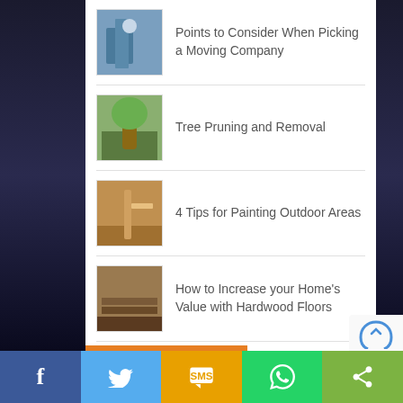Points to Consider When Picking a Moving Company
Tree Pruning and Removal
4 Tips for Painting Outdoor Areas
How to Increase your Home’s Value with Hardwood Floors
Creative Ways to Enhance the Ambiance of Your Home